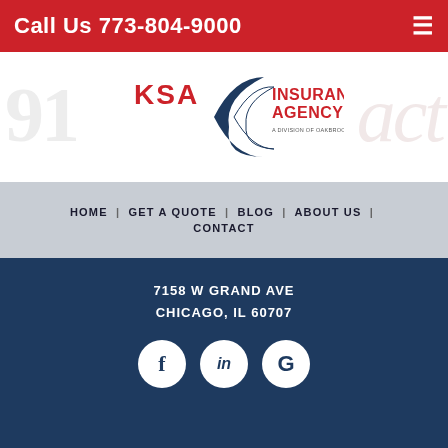Call Us 773-804-9000
[Figure (logo): KSA Insurance Agency logo with crescent moon graphic and tagline 'A Division of Oakbrook Insurance Agency']
HOME | GET A QUOTE | BLOG | ABOUT US | CONTACT
7158 W GRAND AVE
CHICAGO, IL 60707
[Figure (other): Social media icons: Facebook (f), LinkedIn (in), Google (G) as white circles on dark blue background]
[Figure (logo): KSA Insurance Agency logo (white version) with crescent moon graphic]
[Figure (other): Accessibility icon - person in circle]
Search Our Site